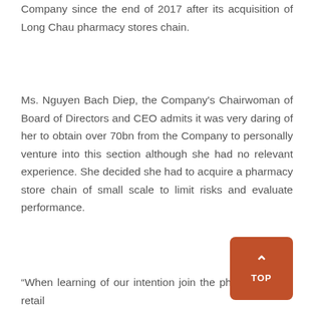Company since the end of 2017 after its acquisition of Long Chau pharmacy stores chain.
Ms. Nguyen Bach Diep, the Company's Chairwoman of Board of Directors and CEO admits it was very daring of her to obtain over 70bn from the Company to personally venture into this section although she had no relevant experience. She decided she had to acquire a pharmacy store chain of small scale to limit risks and evaluate performance.
“When learning of our intention join the pharmaceutical retail